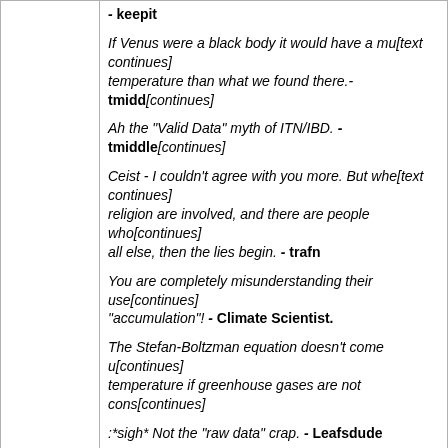- keepit
If Venus were a black body it would have a much lower temperature than what we found there.- tmiddleton
Ah the "Valid Data" myth of ITN/IBD. - tmiddleton
Ceist - I couldn't agree with you more. But when politics and religion are involved, and there are people who value that above all else, then the lies begin. - trafn
You are completely misunderstanding their use of "accumulation"! - Climate Scientist.
The Stefan-Boltzman equation doesn't come up with the right temperature if greenhouse gases are not cons...
:*sigh* Not the "raw data" crap. - Leafsdude
IB STILL hasn't explained what Planck's Law means beyond hand waving that it applies to everything and means that the greenhouse effect 'violates' it.- Ceist
Into the Night
Surface Detail wrote:
IBdaMann wrote: